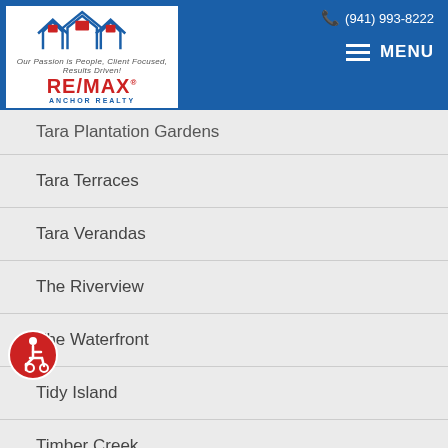Login / Register | (941) 993-8222 | The Larson Team RE/MAX Anchor Realty | MENU
Tara Plantation Gardens
Tara Terraces
Tara Verandas
The Riverview
The Waterfront
Tidy Island
Timber Creek
Valencia Garden
Village Green